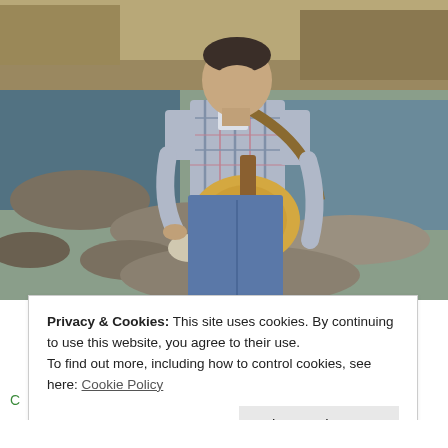[Figure (photo): A man in a plaid short-sleeve shirt holding an acoustic guitar, standing on rocks next to a creek or river with water reflections visible. Background shows rocks, sparse dry vegetation, and water.]
Privacy & Cookies: This site uses cookies. By continuing to use this website, you agree to their use.
To find out more, including how to control cookies, see here: Cookie Policy
Close and accept